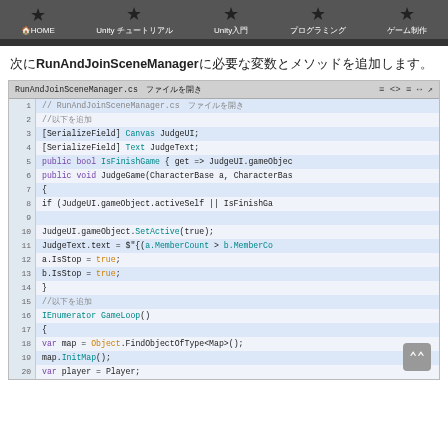HOME   Unity チュートリアル   Unity入門   プログラミング   ゲーム制作
次にRunAndJoinSceneManagerに必要な変数とメソッドを追加します。
[Figure (screenshot): Code editor screenshot showing RunAndJoinSceneManager.cs with C# code including SerializeField declarations, IsFinishGame property, JudgeGame method, GameLoop IEnumerator, and related logic with line numbers 1-20]